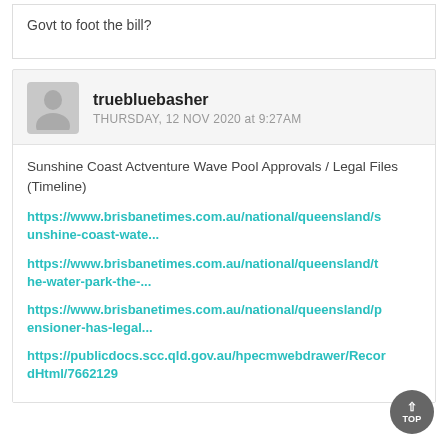Govt to foot the bill?
truebluebasher
THURSDAY, 12 NOV 2020 at 9:27AM
Sunshine Coast Actventure Wave Pool Approvals / Legal Files (Timeline)
https://www.brisbanetimes.com.au/national/queensland/sunshine-coast-wate...
https://www.brisbanetimes.com.au/national/queensland/the-water-park-the-...
https://www.brisbanetimes.com.au/national/queensland/pensioner-has-legal...
https://publicdocs.scc.qld.gov.au/hpecmwebdrawer/RecordHtml/7662129